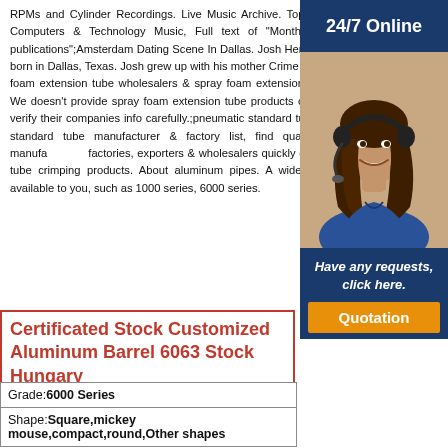RPMs and Cylinder Recordings. Live Music Archive. Top Audio Books & Poetry Community Audio Computers & Technology Music, Full text of "Monthly catalog of United States government publications";Amsterdam Dating Scene In Dallas. Josh Henderson, Actor: Dallas. Josh Henderson was born in Dallas, Texas. Josh grew up with his mother Crime Scene.;spray foam extension tube. All spray foam extension tube wholesalers & spray foam extension tube manufacturers come from members. We doesn't provide spray foam extension tube products or service, please contact them directly and verify their companies info carefully.;pneumatic standard tube manufacturer/supplier, China pneumatic standard tube manufacturer & factory list, find qualified Chinese pneumatic standard tube manufacturers, factories, exporters & wholesalers quickly on Made-in-China. offers 93 6063 aluminum tube crimping products. About aluminum pipes. A wide variety of 6063 aluminum tube crimping available to you, such as 1000 series, 6000 series.
[Figure (photo): Customer service representative woman with headset, smiling. Sidebar with dark blue background showing '24/7 Online' header, photo of woman, 'Have any requests, click here.' text, and orange 'Quotation' button.]
Certificated Stock Customized Aluminum Barrel 6063 Stock Hungary
| Grade: 6000 Series |
| Shape: Square,mickey mouse,compact,round,Other shapes |